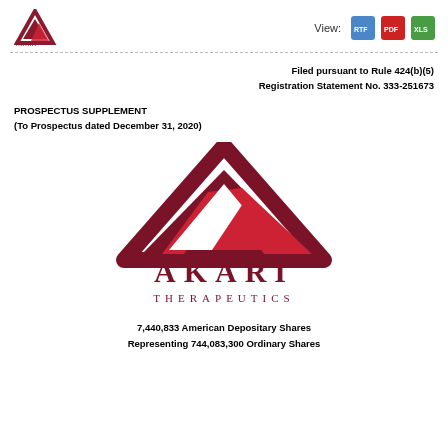Akari Therapeutics logo and View: RTF PDF XLS links
Filed pursuant to Rule 424(b)(5)
Registration Statement No. 333-251673
PROSPECTUS SUPPLEMENT
(To Prospectus dated December 31, 2020)
[Figure (logo): Akari Therapeutics logo — large dark red triangle/chevron mark above the text AKARI THERAPEUTICS in dark red]
7,440,833 American Depositary Shares
Representing 744,083,300 Ordinary Shares